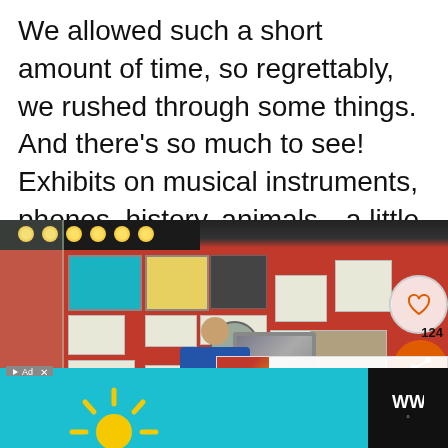We allowed such a short amount of time, so regrettably, we rushed through some things. And there's so much to see! Exhibits on musical instruments, phones, history, animals…a little bit of everything.
[Figure (photo): Museum exhibit hall with red walls covered in vintage items including musical instruments, phones, radios, posters, and signs. Visitors visible at the bottom. Social sharing buttons (heart, share with count 124) overlaid on the right side. A related article thumbnail for 'Exploring The Sioux City...' visible in the lower right.]
[Figure (other): Teal advertisement banner at the bottom with a yellow sun-like graphic on teal background, with a black close/dismiss panel on the right showing a 'WW' logo.]